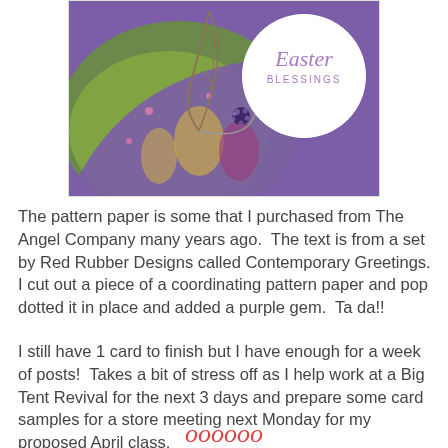[Figure (photo): Close-up photo of a handmade Easter card with purple and green patterned paper, a circular cutout showing 'Easter Blessings' text in purple script, decorative floral elements, a feather, and a purple gem in the center.]
The pattern paper is some that I purchased from The Angel Company many years ago.  The text is from a set by Red Rubber Designs called Contemporary Greetings.  I cut out a piece of a coordinating pattern paper and pop dotted it in place and added a purple gem.  Ta da!!
I still have 1 card to finish but I have enough for a week of posts!  Takes a bit of stress off as I help work at a Big Tent Revival for the next 3 days and prepare some card samples for a store meeting next Monday for my proposed April class.